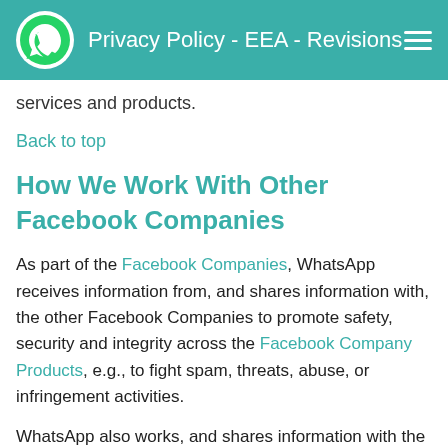Privacy Policy - EEA - Revisions
services and products.
Back to top
How We Work With Other Facebook Companies
As part of the Facebook Companies, WhatsApp receives information from, and shares information with, the other Facebook Companies to promote safety, security and integrity across the Facebook Company Products, e.g., to fight spam, threats, abuse, or infringement activities.
WhatsApp also works, and shares information with the other Facebook Companies who act on our behalf to help us operate, provide, improve,